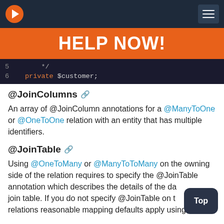Navigation bar with logo and menu button
HELP NOW!
[Figure (screenshot): Code block showing PHP code: line 5 with comment closing */ and line 6 with 'private $customer;']
@JoinColumns
An array of @JoinColumn annotations for a @ManyToOne or @OneToOne relation with an entity that has multiple identifiers.
@JoinTable
Using @OneToMany or @ManyToToMany on the owning side of the relation requires to specify the @JoinTable annotation which describes the details of the da... join table. If you do not specify @JoinTable on t... relations reasonable mapping defaults apply using the